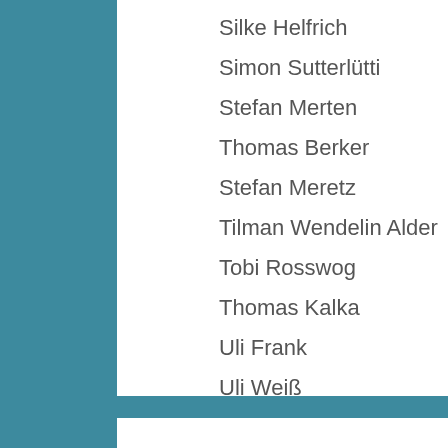Silke Helfrich
Simon Sutterlütti
Stefan Merten
Thomas Berker
Stefan Meretz
Tilman Wendelin Alder
Tobi Rosswog
Thomas Kalka
Uli Frank
Uli Weiß
Wilfried Jannack
BLOGROLL